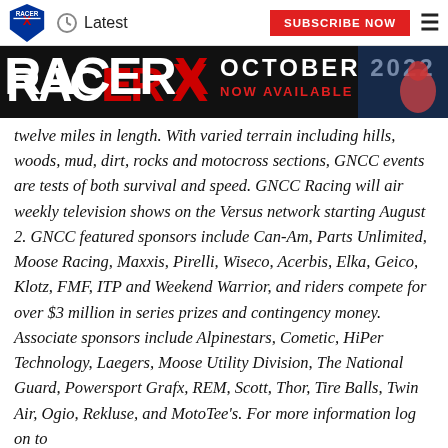Latest | SUBSCRIBE NOW
[Figure (illustration): Racer X magazine banner: RACER X logo on black background with OCTOBER 2022 NOW AVAILABLE text and motocross rider image]
twelve miles in length. With varied terrain including hills, woods, mud, dirt, rocks and motocross sections, GNCC events are tests of both survival and speed. GNCC Racing will air weekly television shows on the Versus network starting August 2. GNCC featured sponsors include Can-Am, Parts Unlimited, Moose Racing, Maxxis, Pirelli, Wiseco, Acerbis, Elka, Geico, Klotz, FMF, ITP and Weekend Warrior, and riders compete for over $3 million in series prizes and contingency money. Associate sponsors include Alpinestars, Cometic, HiPer Technology, Laegers, Moose Utility Division, The National Guard, Powersport Grafx, REM, Scott, Thor, Tire Balls, Twin Air, Ogio, Rekluse, and MotoTee's. For more information log on to